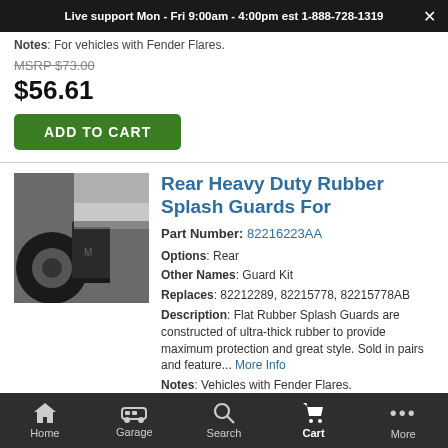Live support Mon - Fri 9:00am - 4:00pm est 1-888-728-1319
Notes: For vehicles with Fender Flares.
MSRP $73.00
$56.61
ADD TO CART
[Figure (photo): Photo of rear heavy duty rubber splash guard / mud flap installed on a vehicle, black rubber, showing tire and wheel well]
Rear Heavy Duty Rubber Splash Guards For
Part Number: 82216223AA
Options: Rear
Other Names: Guard Kit
Replaces: 82212289, 82215778, 82215778AB
Description: Flat Rubber Splash Guards are constructed of ultra-thick rubber to provide maximum protection and great style. Sold in pairs and feature... More Info
Notes: Vehicles with Fender Flares.
Home  Garage  Search  Cart  More